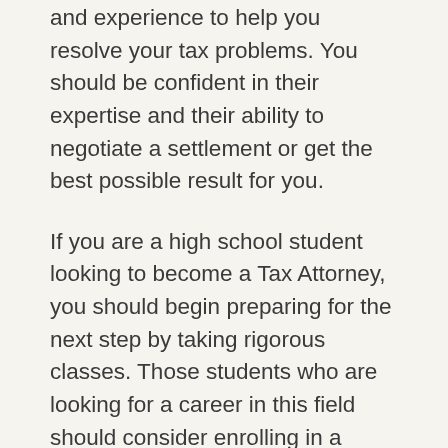and experience to help you resolve your tax problems. You should be confident in their expertise and their ability to negotiate a settlement or get the best possible result for you.
If you are a high school student looking to become a Tax Attorney, you should begin preparing for the next step by taking rigorous classes. Those students who are looking for a career in this field should consider enrolling in a college with rigorous academic standards. A college preparatory curriculum should be a priority. Taking honors and advanced placement courses is an